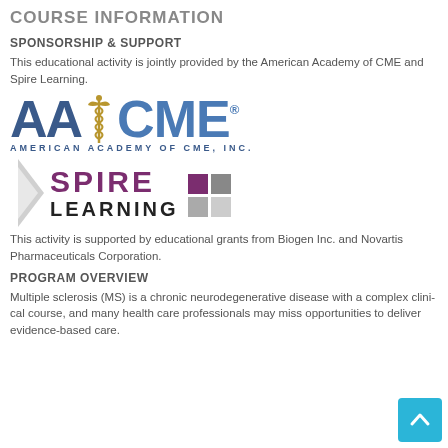COURSE INFORMATION
SPONSORSHIP & SUPPORT
This educational activity is jointly provided by the American Academy of CME and Spire Learning.
[Figure (logo): American Academy of CME (AACME) logo with caduceus symbol and text AMERICAN ACADEMY OF CME, INC.]
[Figure (logo): Spire Learning logo with triangular arrow graphic and colored grid squares]
This activity is supported by educational grants from Biogen Inc. and Novartis Pharmaceuticals Corporation.
PROGRAM OVERVIEW
Multiple sclerosis (MS) is a chronic neurodegenerative disease with a complex clinical course, and many health care professionals may miss opportunities to deliver evidence-based care.